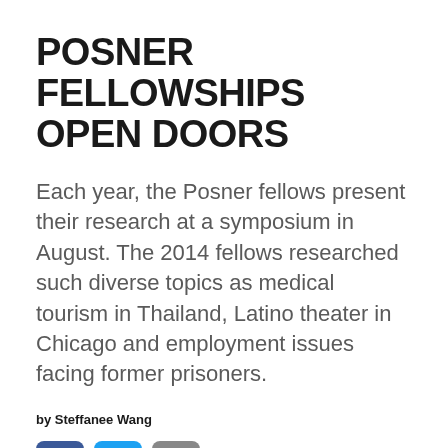POSNER FELLOWSHIPS OPEN DOORS
Each year, the Posner fellows present their research at a symposium in August. The 2014 fellows researched such diverse topics as medical tourism in Thailand, Latino theater in Chicago and employment issues facing former prisoners.
by Steffanee Wang
[Figure (infographic): Three social sharing buttons: Facebook (blue), Twitter (light blue), and Email (grey)]